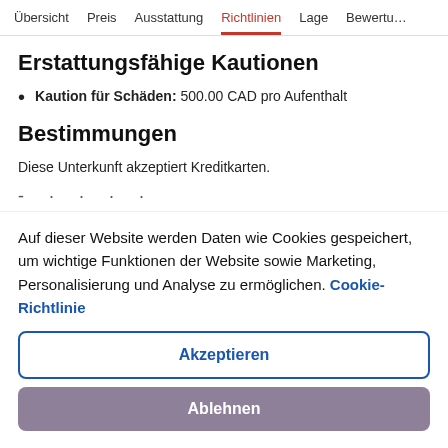Übersicht  Preis  Ausstattung  Richtlinien  Lage  Bewertungen
Erstattungsfähige Kautionen
Kaution für Schäden: 500.00 CAD pro Aufenthalt
Bestimmungen
Diese Unterkunft akzeptiert Kreditkarten.
- · · · ·
Auf dieser Website werden Daten wie Cookies gespeichert, um wichtige Funktionen der Website sowie Marketing, Personalisierung und Analyse zu ermöglichen. Cookie-Richtlinie
Akzeptieren
Ablehnen